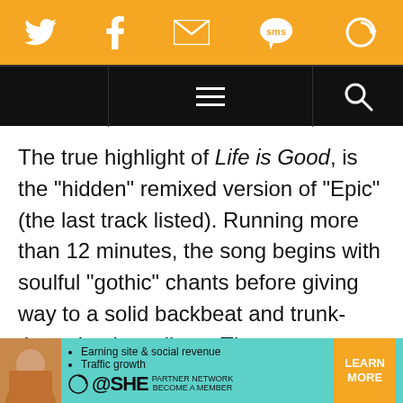[Figure (screenshot): Orange social sharing bar with Twitter, Facebook, email, SMS, and refresh icons in white on orange background]
[Figure (screenshot): Black navigation bar with hamburger menu icon in center and search (magnifying glass) icon on right]
The true highlight of Life is Good, is the “hidden” remixed version of “Epic” (the last track listed). Running more than 12 minutes, the song begins with soulful “gothic” chants before giving way to a solid backbeat and trunk-thumping bass lines. The mesmerizing groove, later joined by searing guitar lines, rolls forward for more than five and a half minutes before Bin Hassan’s signature melismic spoken word flourishes are heard. In the son
[Figure (screenshot): Advertisement banner for SHE Partner Network: teal background with woman photo, bullet points for Earning site & social revenue and Traffic growth, SHE logo, and orange LEARN MORE button]